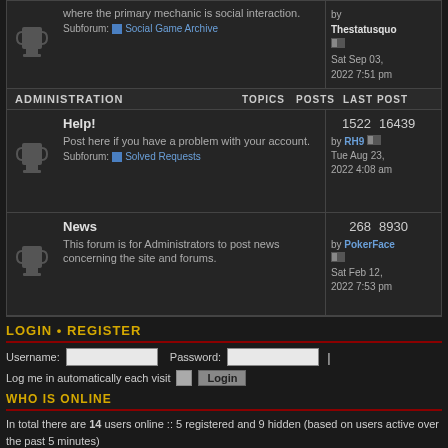where the primary mechanic is social interaction. Subforum: Social Game Archive by Thestatusquo Sat Sep 03, 2022 7:51 pm
ADMINISTRATION   TOPICS POSTS LAST POST
Help! Post here if you have a problem with your account. Subforum: Solved Requests — 1522 16439 by RH9 Tue Aug 23, 2022 4:08 am
News This forum is for Administrators to post news concerning the site and forums. — 268 8930 by PokerFace Sat Feb 12, 2022 7:53 pm
LOGIN • REGISTER
Username: [field] Password: [field] Log me in automatically each visit [checkbox] [Login]
WHO IS ONLINE
In total there are 14 users online :: 5 registered and 9 hidden (based on users active over the past 5 minutes)
Most users ever online was 215 on Tue Feb 22, 2011 2:39 pm